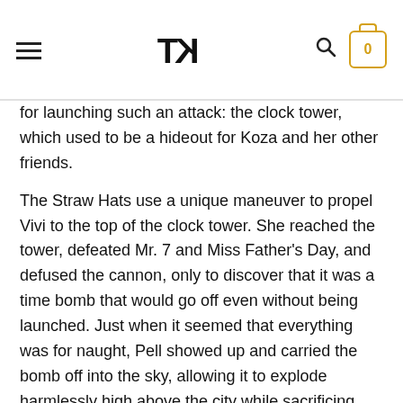TK [logo] | hamburger menu | search | cart 0
for launching such an attack: the clock tower, which used to be a hideout for Koza and her other friends.
The Straw Hats use a unique maneuver to propel Vivi to the top of the clock tower. She reached the tower, defeated Mr. 7 and Miss Father’s Day, and defused the cannon, only to discover that it was a time bomb that would go off even without being launched. Just when it seemed that everything was for naught, Pell showed up and carried the bomb off into the sky, allowing it to explode harmlessly high above the city while sacrificing himself.
However, despite the bomb’s explosion knocking the soldiers over, they simply got back up and continued the battle. Over and over, Vivi desperately yelled for them to stop fighting, but her voice was not heard.